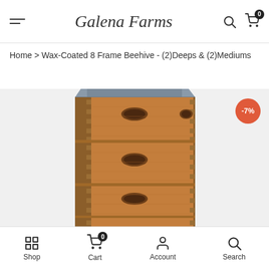Galena Farms — navigation header with hamburger menu, logo, search icon, and cart icon with badge 0
Home > Wax-Coated 8 Frame Beehive - (2)Deeps & (2)Mediums
[Figure (photo): Wax-coated 8-frame wooden beehive with metal roof, showing multiple stacked boxes with finger-joint corners and semicircular entrance holes. A red circular discount badge showing -7% is overlaid in the top-right corner.]
Shop | Cart (0) | Account | Search